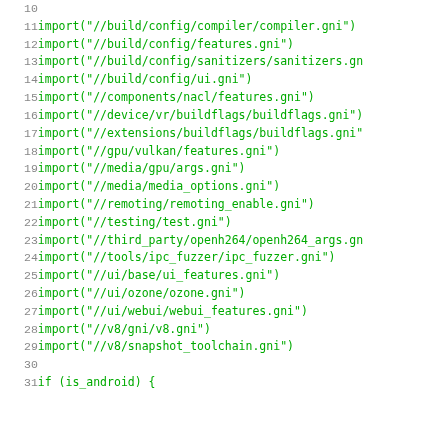Code listing lines 10-31: GNI import statements and if (is_android) { block